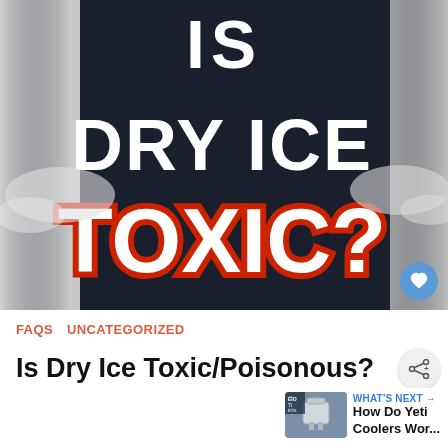[Figure (illustration): Dark navy background with large bold white text reading 'IS DRY ICE' and below in large red-outlined white block letters 'TOXIC?' with dry ice fog/smoke effects visible on sides]
FAQS  UNCATEGORIZED
Is Dry Ice Toxic/Poisonous?
WHAT'S NEXT → How Do Yeti Coolers Wor...